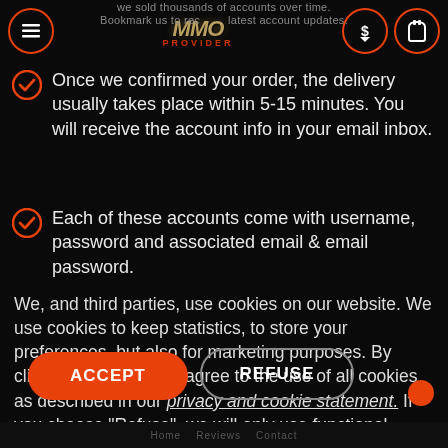we sold thousands of accounts over time. Bookmark us to receive the latest account updates.
Once we confirmed your order, the delivery usually takes place within 5-15 minutes. You will receive the account info in your email inbox.
Each of these accounts come with username, password and associated email & email password.
We, and third parties, use cookies on our website. We use cookies to keep statistics, to store your preferences, but also for marketing purposes. By clicking "Accept", you agree to the use of all cookies as described in our privacy and cookie statement. If you choose "Refuse", we will only use functional cookies.
ACCEPT
REFUSE